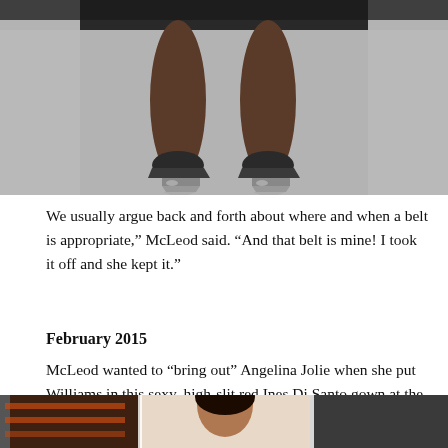[Figure (photo): Close-up photo of a person's feet/legs wearing dark pointed-toe heels on a grey carpet, with a dark skirt or dress hem visible at the top]
We usually argue back and forth about where and when a belt is appropriate,” McLeod said. “And that belt is mine! I took it off and she kept it.”
February 2015
McLeod wanted to “bring out” Angelina Jolie when she put Williams in this sexy, high-slit red Ines Di Santo gown at the Vanity Fair after party.
[Figure (photo): Photo of a woman at what appears to be the Vanity Fair after party, wearing a red gown, shown from roughly shoulders up with a dark background]